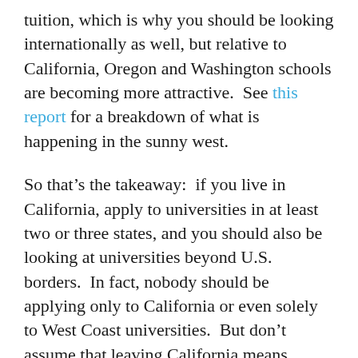tuition, which is why you should be looking internationally as well, but relative to California, Oregon and Washington schools are becoming more attractive.  See this report for a breakdown of what is happening in the sunny west.
So that's the takeaway:  if you live in California, apply to universities in at least two or three states, and you should also be looking at universities beyond U.S. borders.  In fact, nobody should be applying only to California or even solely to West Coast universities.  But don't assume that leaving California means everything will be hunky-dory.    Do your homework in assessing the budgets for all universities in all states in which you plan to apply.  Most places are suffering.  It's just far worse in California than anywhere else.